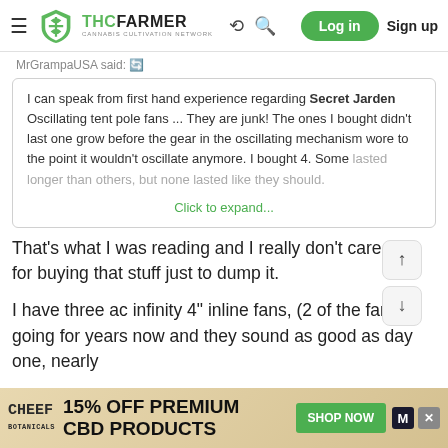THCFarmer - Cannabis Cultivation Network | Log in | Sign up
MrGrampaUSA said:
I can speak from first hand experience regarding Secret Jarden Oscillating tent pole fans ... They are junk! The ones I bought didn't last one grow before the gear in the oscillating mechanism wore to the point it wouldn't oscillate anymore. I bought 4. Some lasted longer than others, but none lasted like they should.
Click to expand...
That's what I was reading and I really don't care for buying that stuff just to dump it.
I have three ac infinity 4" inline fans, (2 of the fans) going for years now and they sound as good as day one, nearly
[Figure (infographic): Advertisement banner for Cheef Botanicals: 15% OFF PREMIUM CBD PRODUCTS - SHOP NOW]